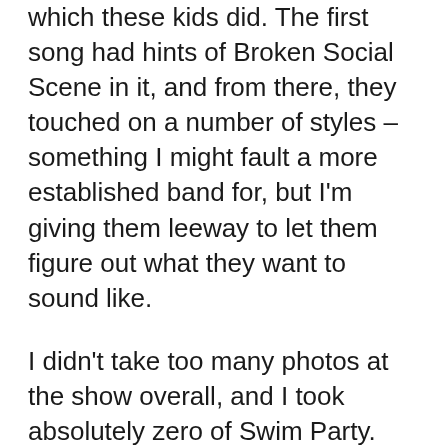which these kids did. The first song had hints of Broken Social Scene in it, and from there, they touched on a number of styles – something I might fault a more established band for, but I'm giving them leeway to let them figure out what they want to sound like.
I didn't take too many photos at the show overall, and I took absolutely zero of Swim Party. Because, well, I've shot them plenty of times before, and this time I just wanted to rock out – especially since I wasn't playing with them.
After Swim Party was Ryan Bingham and the Dead Horses, who brought some roadhouse music to the Casbah. They sounded great, but unfortunately, I had